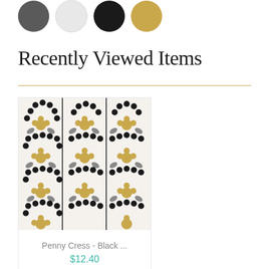[Figure (illustration): Four color swatches (circles): dark gray, light gray, black, and gold/mustard]
Recently Viewed Items
[Figure (photo): Penny Cress - Black wallpaper product image showing a floral/botanical pattern with black, gray and gold/mustard tones on white background]
Penny Cress - Black ...
$12.40